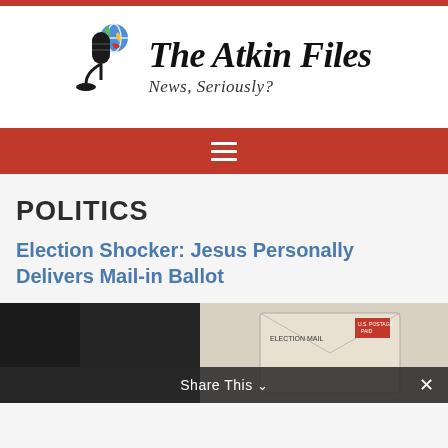[Figure (logo): The Atkin Files logo with microphone and globe, text: The Atkin Files, News, Seriously?]
[Figure (other): Red navigation bar with hamburger menu icon]
POLITICS
Election Shocker: Jesus Personally Delivers Mail-in Ballot
[Figure (photo): Photo of election mail-in ballot envelope, partially visible]
Share This